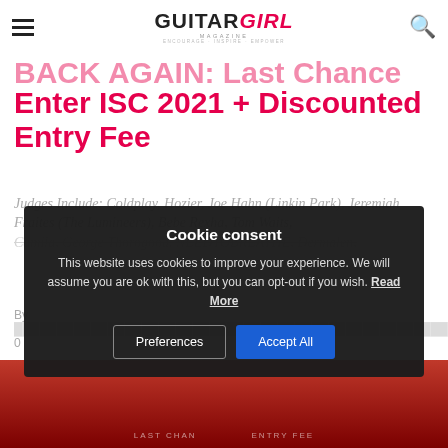Guitar Girl Magazine
BACK AGAIN: Last Chance To Enter ISC 2021 + Discounted Entry Fee
Judges Include: Coldplay, Hozier, Joe Hahn (Linkin Park), Jeremiah Fraites (The Lumineers), Bebe Rexha, Tom Waits, Camila, George Thorogood, NEEDTOBREATHE, Dermalen, M..., M...
By ... 0
[Figure (photo): Red and dark background image strip at bottom of page]
Cookie consent

This website uses cookies to improve your experience. We will assume you are ok with this, but you can opt-out if you wish. Read More

Preferences  Accept All